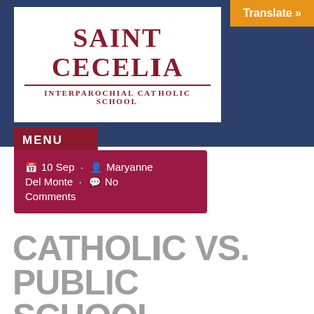[Figure (logo): Saint Cecelia Interparochial Catholic School logo with red serif text on white background]
Translate »
MENU
10 Sep · Maryanne Del Monte · No Comments
CATHOLIC VS. PUBLIC SCHOOL
Choosing the best school for your children is a complex process. Like most parents, you want to make sure